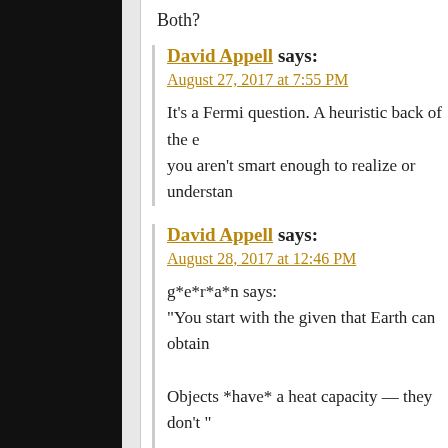Both?
David Appell says:
August 27, 2017 at 7:55 PM
It’s a Fermi question. A heuristic back of the e… you aren’t smart enough to realize or understan…
David Appell says:
August 28, 2017 at 12:46 PM
g*e*r*a*n says:
“You start with the given that Earth can obtain…

Objects *have* a heat capacity — they don’t “…

You’re being a sore loser.
…iMK…